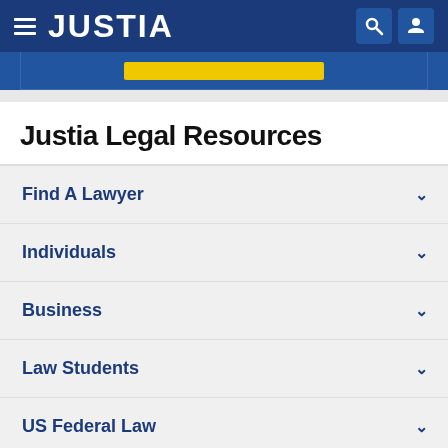JUSTIA
Justia Legal Resources
Find A Lawyer
Individuals
Business
Law Students
US Federal Law
US State Law